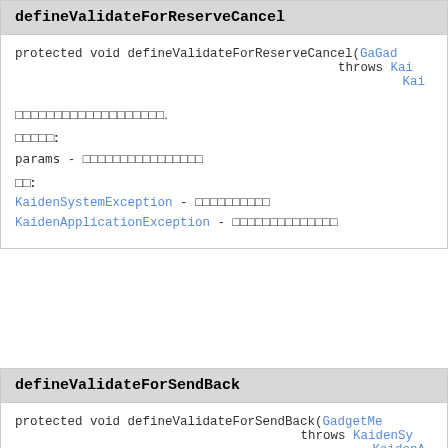defineValidateForReserveCancel
protected void defineValidateForReserveCancel(Gad... throws Kai... Kai...
（日本語テキスト）
パラメータ:
params - （日本語テキスト）
例外:
KaidenSystemException - （日本語テキスト）
KaidenApplicationException - （日本語テキスト）
defineValidateForSendBack
protected void defineValidateForSendBack(GadgetMe... throws KaidenSy... KaidenA...